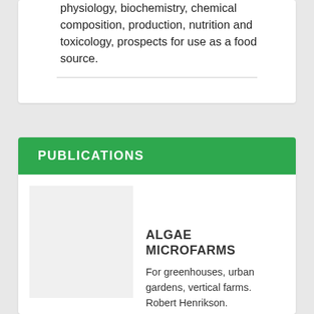physiology, biochemistry, chemical composition, production, nutrition and toxicology, prospects for use as a food source.
PUBLICATIONS
[Figure (other): Book cover image placeholder for Algae Microfarms]
ALGAE MICROFARMS
For greenhouses, urban gardens, vertical farms. Robert Henrikson. Amazon.com.